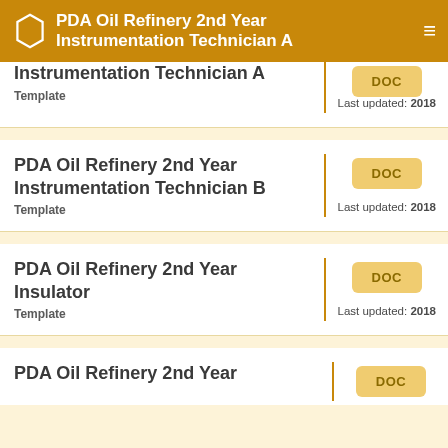PDA Oil Refinery 2nd Year Instrumentation Technician A
PDA Oil Refinery 2nd Year Instrumentation Technician A
Template
Last updated: 2018
PDA Oil Refinery 2nd Year Instrumentation Technician B
Template
Last updated: 2018
PDA Oil Refinery 2nd Year Insulator
Template
Last updated: 2018
PDA Oil Refinery 2nd Year